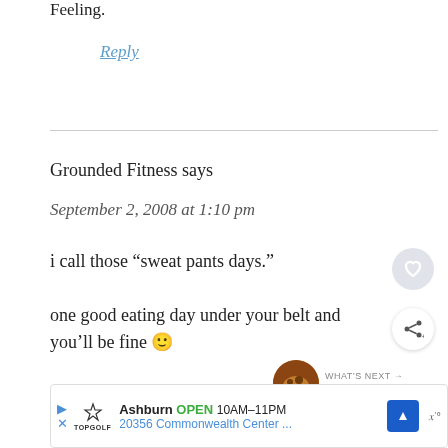Feeling.
Reply
Grounded Fitness says
September 2, 2008 at 1:10 pm
i call those “sweat pants days.” one good eating day under your belt and you’ll be fine 🙂
www.groundedfitness.com